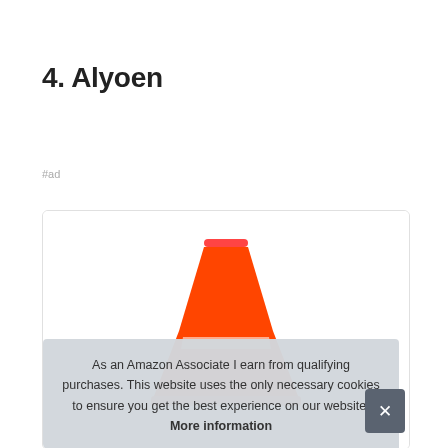4. Alyoen
#ad
[Figure (photo): Orange traffic cone on white background inside a product card with rounded border]
As an Amazon Associate I earn from qualifying purchases. This website uses the only necessary cookies to ensure you get the best experience on our website. More information